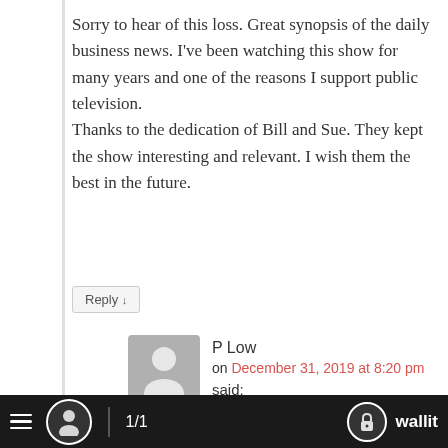Sorry to hear of this loss. Great synopsis of the daily business news. I've been watching this show for many years and one of the reasons I support public television.
Thanks to the dedication of Bill and Sue. They kept the show interesting and relevant. I wish them the best in the future.
Reply ↓
P Low
on December 31, 2019 at 8:20 pm
said:
Oh so sad to learn of this, like others I regularly watched and enjoyed this
≡  [user icon]  1/1  [lock icon] wallit